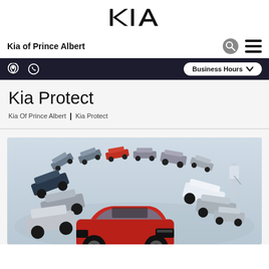[Figure (logo): KIA logo in black]
Kia of Prince Albert
Business Hours
Kia Protect
Kia Of Prince Albert | Kia Protect
[Figure (photo): Multiple Kia vehicles arranged in a horseshoe/arc formation on a light gray surface, with a red Kia Stinger in the foreground center]